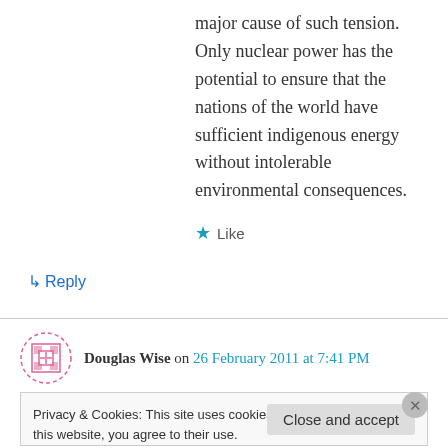major cause of such tension. Only nuclear power has the potential to ensure that the nations of the world have sufficient indigenous energy without intolerable environmental consequences.
★ Like
↳ Reply
Douglas Wise on 26 February 2011 at 7:41 PM
John Newlands,
Privacy & Cookies: This site uses cookies. By continuing to use this website, you agree to their use.
To find out more, including how to control cookies, see here: Cookie Policy